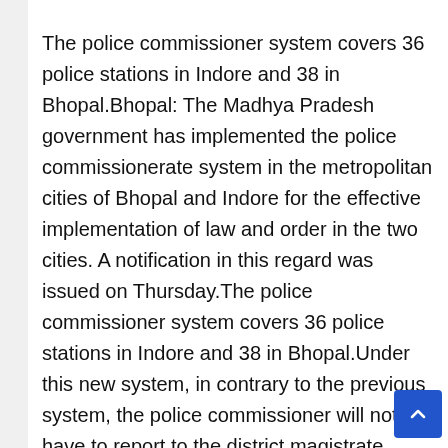The police commissioner system covers 36 police stations in Indore and 38 in Bhopal.Bhopal: The Madhya Pradesh government has implemented the police commissionerate system in the metropolitan cities of Bhopal and Indore for the effective implementation of law and order in the two cities. A notification in this regard was issued on Thursday.The police commissioner system covers 36 police stations in Indore and 38 in Bhopal.Under this new system, in contrary to the previous system, the police commissioner will not have to report to the district magistrate